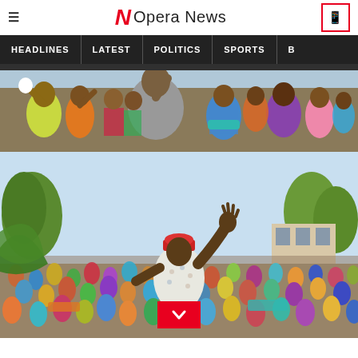Opera News
[Figure (screenshot): Opera News website header with hamburger menu, Opera News logo with red N, and phone icon button]
HEADLINES | LATEST | POLITICS | SPORTS | B...
[Figure (photo): Top photo: crowd of African people with colorful clothing waving and celebrating]
[Figure (photo): Bottom photo: man in red cap and patterned shirt with his back to camera raising hand to large crowd outdoors]